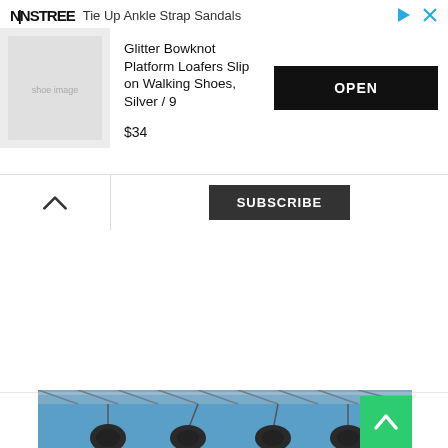[Figure (screenshot): NINSTREE ad banner with 'Tie Up Ankle Strap Sandals' branding at top, product listing for 'Glitter Bowknot Platform Loafers Slip on Walking Shoes, Silver / 9' priced at $34 with an OPEN button, product thumbnail showing silver glitter shoes]
[Figure (screenshot): Collapse/up-arrow button on left and a dark 'SUBSCRIBE' button in center on a white bar]
[Figure (photo): Bottom portion of a photo showing stage lighting equipment (spotlights/stage lights) hanging from a metal truss structure against a blue background, with a green scroll-to-top arrow button in bottom right corner]